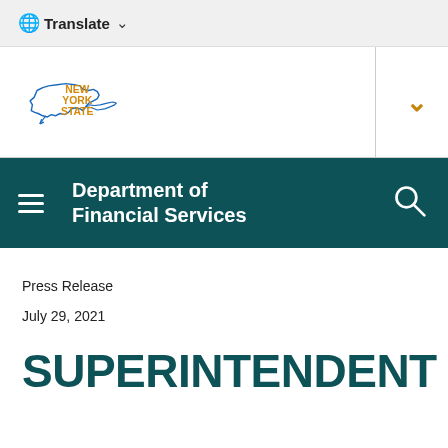🌐 Translate ∨
[Figure (logo): New York State logo with outline map of New York State in blue and 'NEW YORK STATE' text in orange/gold]
Department of Financial Services
Press Release
July 29, 2021
SUPERINTENDENT